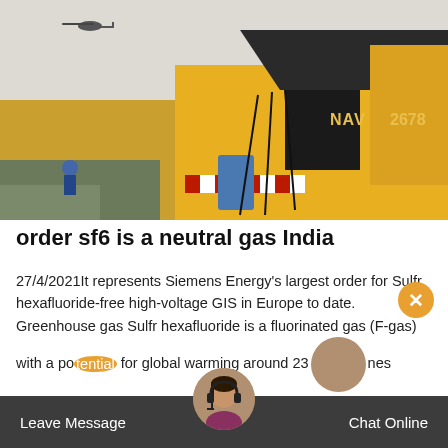[Figure (photo): Industrial scene with a large yellow truck/vehicle with 'NAV 2678' marking, dark overhead beam, blue barrel, cables, and a helicopter visible in the grey sky above]
order sf6 is a neutral gas India
27/4/2021It represents Siemens Energy's largest order for Sulfr hexafluoride-free high-voltage GIS in Europe to date. Greenhouse gas Sulfr hexafluoride is a fluorinated gas (F-gas) with a potential for global warming around 23 times greater than carbon dioxide
Leave Message   Chat Online